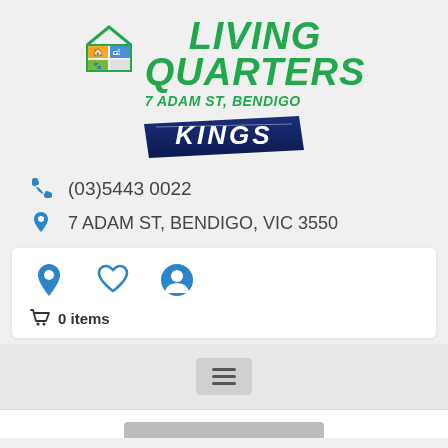[Figure (logo): Living Quarters logo with colorful grid icon, green italic text LIVING QUARTERS, address 7 ADAM ST, BENDIGO, and KINGS brand logo in dark blue italic]
(03)5443 0022
7 ADAM ST, BENDIGO, VIC 3550
[Figure (screenshot): Navigation bar with location pin icon, heart/wishlist icon, user account icon, and shopping cart showing 0 items]
[Figure (screenshot): Hamburger menu button (three horizontal lines) on grey background]
[Figure (screenshot): Bottom white section with grey thumbnail bar beginning to appear]